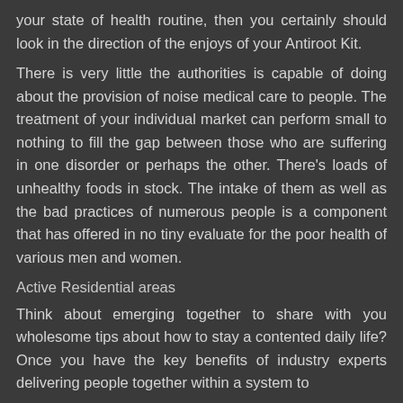your state of health routine, then you certainly should look in the direction of the enjoys of your Antiroot Kit.
There is very little the authorities is capable of doing about the provision of noise medical care to people. The treatment of your individual market can perform small to nothing to fill the gap between those who are suffering in one disorder or perhaps the other. There's loads of unhealthy foods in stock. The intake of them as well as the bad practices of numerous people is a component that has offered in no tiny evaluate for the poor health of various men and women.
Active Residential areas
Think about emerging together to share with you wholesome tips about how to stay a contented daily life? Once you have the key benefits of industry experts delivering people together within a system to